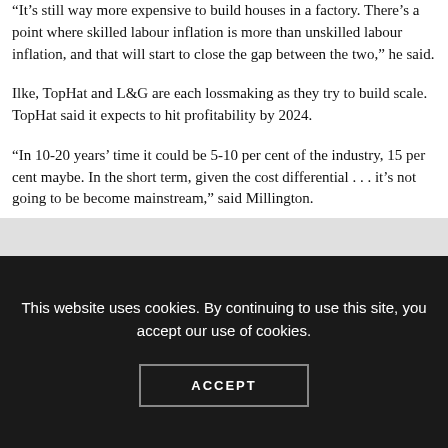“It’s still way more expensive to build houses in a factory. There’s a point where skilled labour inflation is more than unskilled labour inflation, and that will start to close the gap between the two,” he said.
Ilke, TopHat and L&G are each lossmaking as they try to build scale. TopHat said it expects to hit profitability by 2024.
“In 10-20 years’ time it could be 5-10 per cent of the industry, 15 per cent maybe. In the short term, given the cost differential . . . it’s not going to be become mainstream,” said Millington.
This website uses cookies. By continuing to use this site, you accept our use of cookies.
ACCEPT